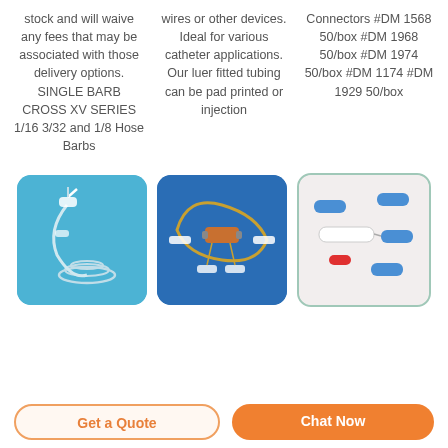stock and will waive any fees that may be associated with those delivery options. SINGLE BARB CROSS XV SERIES 1/16 3/32 and 1/8 Hose Barbs
wires or other devices. Ideal for various catheter applications. Our luer fitted tubing can be pad printed or injection
Connectors #DM 1568 50/box #DM 1968 50/box #DM 1974 50/box #DM 1174 #DM 1929 50/box
[Figure (photo): Medical catheter/tubing assembly on blue background]
[Figure (photo): Medical device with wire coil and connectors on dark blue background]
[Figure (photo): Small medical luer connectors, blue and red, on light background]